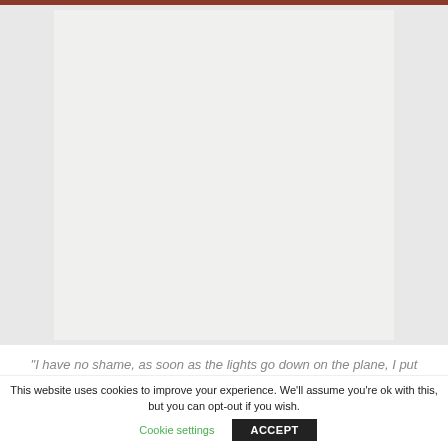[Figure (photo): A woman with blonde hair wearing a peach/pink blazer and cream trousers sits on a white folding director's chair holding a microphone. She is wearing metallic heeled shoes. Behind her is a colorful abstract artwork with pink, purple and red swirls. To her left is a small white table with a green glass bottle and some items on it.]
“I have no shame, as soon as the lights go down on the plane, I put my mask on,” Blanchett, the
This website uses cookies to improve your experience. We'll assume you're ok with this, but you can opt-out if you wish.
Cookie settings   ACCEPT